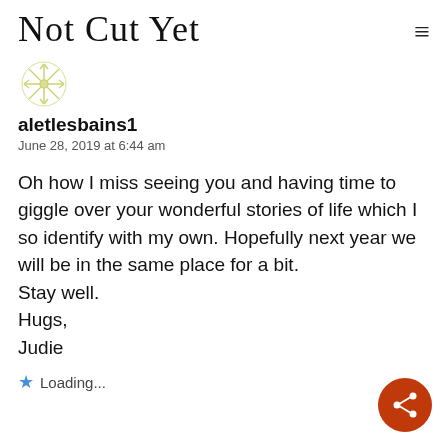Not Cut Yet
[Figure (illustration): A small decorative avatar/icon with a snowflake or geometric pattern in muted yellow-green color]
aletlesbains1
June 28, 2019 at 6:44 am
Oh how I miss seeing you and having time to giggle over your wonderful stories of life which I so identify with my own. Hopefully next year we will be in the same place for a bit.
Stay well.
Hugs,
Judie
Loading...
[Figure (illustration): Orange circular share button with share icon (network/share symbol) in white]